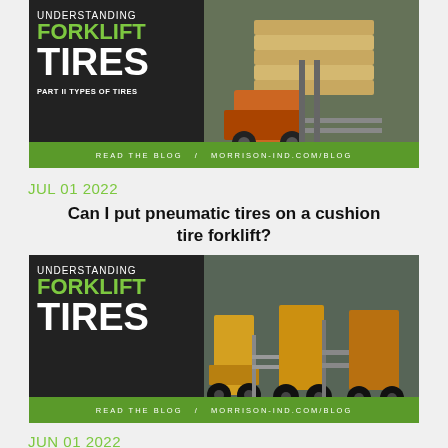[Figure (photo): Blog banner image: 'Understanding Forklift Tires - Part II Types of Tires' with dark background on left showing text in white and green, and a photo of a forklift carrying pallets on the right. Green bar at bottom reads 'READ THE BLOG / MORRISON-IND.COM/BLOG']
JUL 01 2022
Can I put pneumatic tires on a cushion tire forklift?
[Figure (photo): Blog banner image: 'Understanding Forklift Tires' with dark background on left showing text in white and green, and a photo of multiple yellow forklifts in a warehouse on the right. Green bar at bottom reads 'READ THE BLOG / MORRISON-IND.COM/BLOG']
JUN 01 2022
National Forklift Safety Month